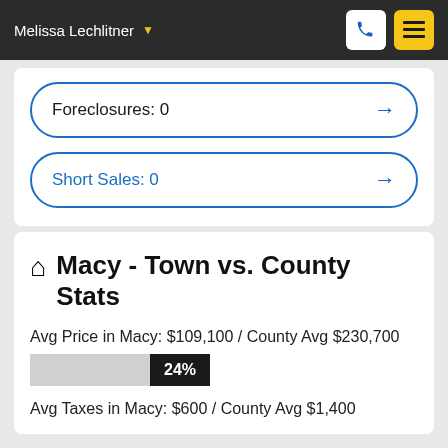Melissa Lechlitner
Foreclosures: 0
Short Sales: 0
Macy - Town vs. County Stats
Avg Price in Macy: $109,100 / County Avg $230,700
24%
Avg Taxes in Macy: $600 / County Avg $1,400